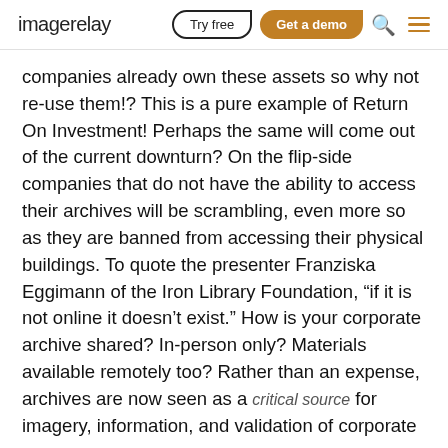imagerelay  Try free  Get a demo
companies already own these assets so why not re-use them!? This is a pure example of Return On Investment! Perhaps the same will come out of the current downturn? On the flip-side companies that do not have the ability to access their archives will be scrambling, even more so as they are banned from accessing their physical buildings. To quote the presenter Franziska Eggimann of the Iron Library Foundation, “if it is not online it doesn’t exist.” How is your corporate archive shared? In-person only? Materials available remotely too? Rather than an expense, archives are now seen as a critical source for imagery, information, and validation of corporate